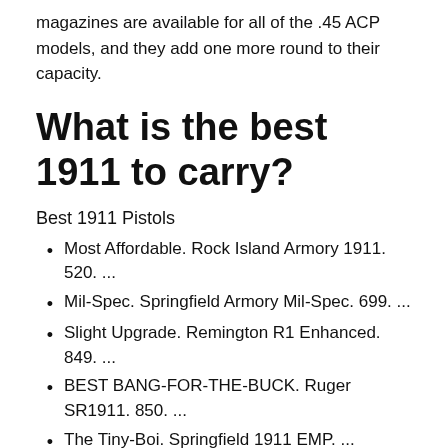magazines are available for all of the .45 ACP models, and they add one more round to their capacity.
What is the best 1911 to carry?
Best 1911 Pistols
Most Affordable. Rock Island Armory 1911. 520. ...
Mil-Spec. Springfield Armory Mil-Spec. 699. ...
Slight Upgrade. Remington R1 Enhanced. 849. ...
BEST BANG-FOR-THE-BUCK. Ruger SR1911. 850. ...
The Tiny-Boi. Springfield 1911 EMP. ...